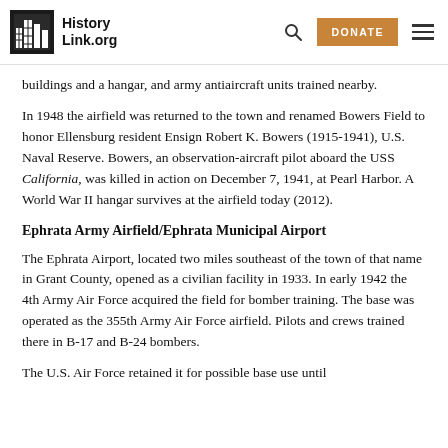HistoryLink.org
buildings and a hangar, and army antiaircraft units trained nearby.
In 1948 the airfield was returned to the town and renamed Bowers Field to honor Ellensburg resident Ensign Robert K. Bowers (1915-1941), U.S. Naval Reserve. Bowers, an observation-aircraft pilot aboard the USS California, was killed in action on December 7, 1941, at Pearl Harbor. A World War II hangar survives at the airfield today (2012).
Ephrata Army Airfield/Ephrata Municipal Airport
The Ephrata Airport, located two miles southeast of the town of that name in Grant County, opened as a civilian facility in 1933. In early 1942 the 4th Army Air Force acquired the field for bomber training. The base was operated as the 355th Army Air Force airfield. Pilots and crews trained there in B-17 and B-24 bombers.
The U.S. Air Force retained it for possible base use until